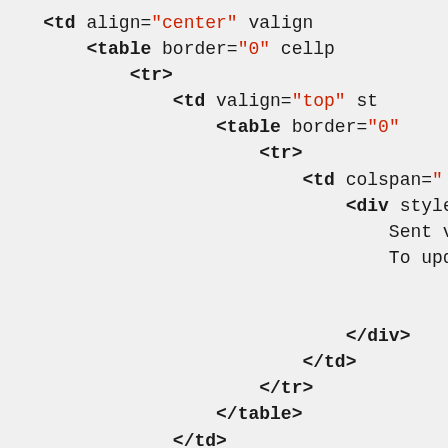HTML source code snippet showing nested table structure with closing tags